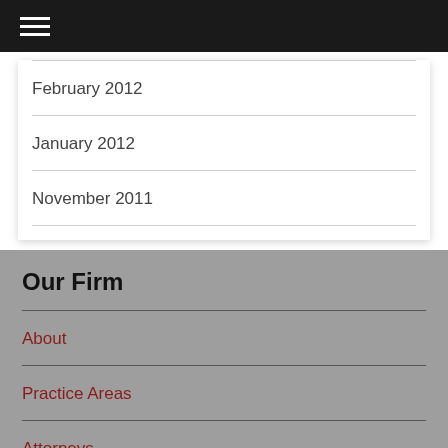Navigation menu header bar
February 2012
January 2012
November 2011
Our Firm
About
Practice Areas
Attorneys
Our Blog
Contact Us